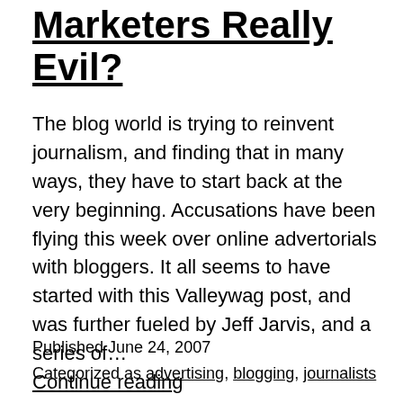Marketers Really Evil?
The blog world is trying to reinvent journalism, and finding that in many ways, they have to start back at the very beginning. Accusations have been flying this week over online advertorials with bloggers. It all seems to have started with this Valleywag post, and was further fueled by Jeff Jarvis, and a series of… Continue reading
Published June 24, 2007
Categorized as advertising, blogging, journalists